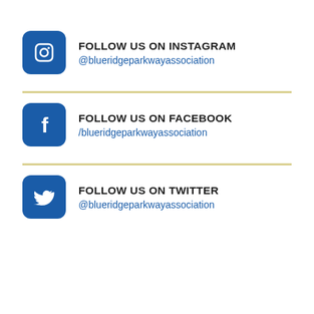[Figure (logo): Instagram icon - blue rounded square with white camera icon]
FOLLOW US ON INSTAGRAM
@blueridgeparkwayassociation
[Figure (logo): Facebook icon - blue rounded square with white f logo]
FOLLOW US ON FACEBOOK
/blueridgeparkwayassociation
[Figure (logo): Twitter icon - blue rounded square with white bird logo]
FOLLOW US ON TWITTER
@blueridgeparkwayassociation